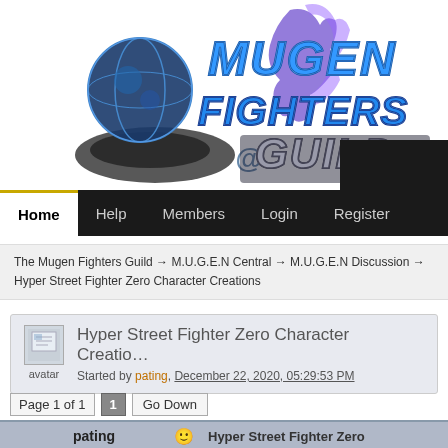[Figure (logo): Mugen Fighters Guild logo with globe, character silhouette, and stylized text]
Home | Help | Members | Login | Register
The Mugen Fighters Guild → M.U.G.E.N Central → M.U.G.E.N Discussion → Hyper Street Fighter Zero Character Creations
Hyper Street Fighter Zero Character Creations
Started by pating, December 22, 2020, 05:29:53 PM
Page 1 of 1  [1]  Go Down
pating   Hyper Street Fighter Zero